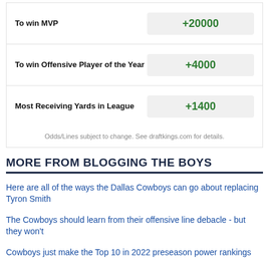| Bet | Odds |
| --- | --- |
| To win MVP | +20000 |
| To win Offensive Player of the Year | +4000 |
| Most Receiving Yards in League | +1400 |
Odds/Lines subject to change. See draftkings.com for details.
MORE FROM BLOGGING THE BOYS
Here are all of the ways the Dallas Cowboys can go about replacing Tyron Smith
The Cowboys should learn from their offensive line debacle - but they won't
Cowboys just make the Top 10 in 2022 preseason power rankings